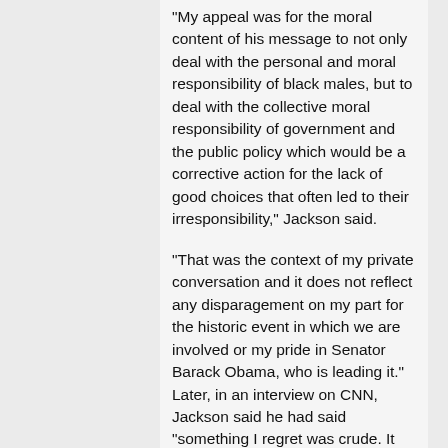“My appeal was for the moral content of his message to not only deal with the personal and moral responsibility of black males, but to deal with the collective moral responsibility of government and the public policy which would be a corrective action for the lack of good choices that often led to their irresponsibility,” Jackson said.
“That was the context of my private conversation and it does not reflect any disparagement on my part for the historic event in which we are involved or my pride in Senator Barack Obama, who is leading it.” Later, in an interview on CNN, Jackson said he had said “something I regret was crude. It was very private. And very much a sound bite.”
Jackson, 66, is a former associate of assassinated civil rights leader Martin